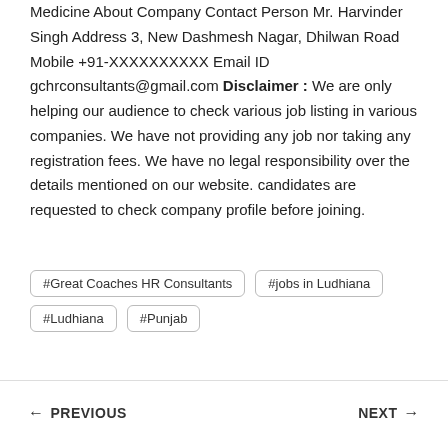Medicine About Company Contact Person Mr. Harvinder Singh Address 3, New Dashmesh Nagar, Dhilwan Road Mobile +91-XXXXXXXXXX Email ID gchrconsultants@gmail.com Disclaimer : We are only helping our audience to check various job listing in various companies. We have not providing any job nor taking any registration fees. We have no legal responsibility over the details mentioned on our website. candidates are requested to check company profile before joining.
#Great Coaches HR Consultants
#jobs in Ludhiana
#Ludhiana
#Punjab
← PREVIOUS    NEXT →